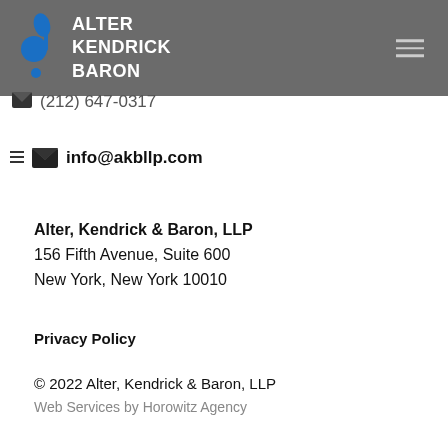ALTER KENDRICK BARON
(212) 647-0317
info@akbllp.com
Alter, Kendrick & Baron, LLP
156 Fifth Avenue, Suite 600
New York, New York 10010
Privacy Policy
© 2022 Alter, Kendrick & Baron, LLP
Web Services by Horowitz Agency